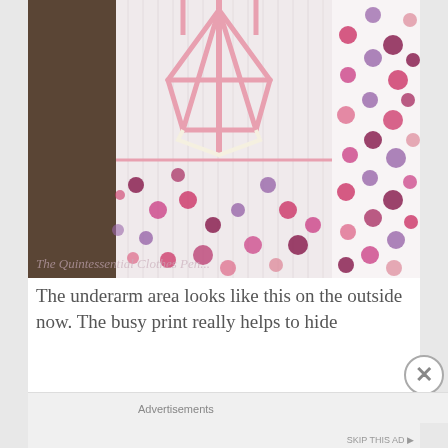[Figure (photo): A flatlay photo of a white dress with colorful polka dots (pink, purple, burgundy, coral) laid open to show its construction. The bodice area shows intricate pink ribbon/tape seam details in a geometric pattern. The garment is laid on a dark wooden surface. A watermark reads 'The Quintessential Clothes Pen...' at the bottom of the image.]
The underarm area looks like this on the outside now. The busy print really helps to hide
Advertisements